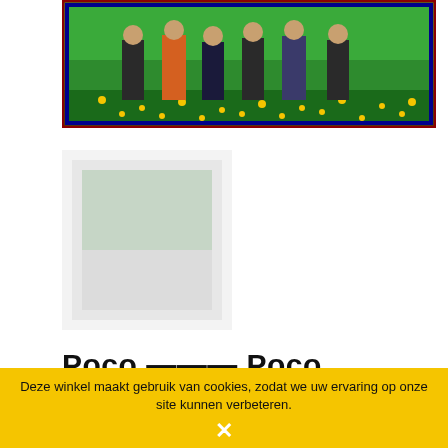[Figure (photo): Album cover photo showing a band of people standing in a field with yellow flowers and green background, framed with a dark border]
[Figure (photo): Smaller secondary thumbnail image, partially visible, appears to be another view of the album]
Poco --- Poco
Delen
€ 7,50
Deze winkel maakt gebruik van cookies, zodat we uw ervaring op onze site kunnen verbeteren.